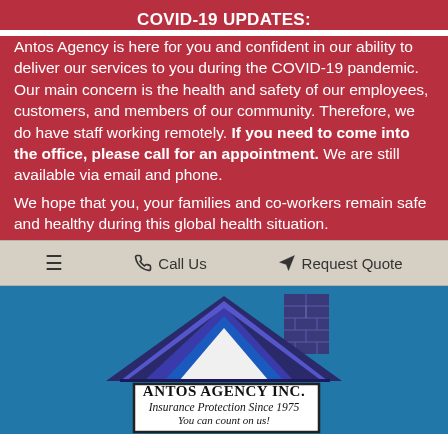COVID-19 UPDATES:
Antos Agency is here for you and confident in our ability to deliver our services to you during the COVID-19 pandemic. Our main concern is the health and safety of our employees, customers, and members of our community. Therefore, we do have staff working remotely. If you need to come into the office, please call for an appointment. We are still available via email and phone.
We hope that you, your families and co-workers remain safe and healthy during this global health situation.
≡   Call Us   Request Quote
[Figure (logo): Antos Agency Inc. logo showing a house with blue roof and chimney, with a sign reading ANTOS AGENCY INC. Insurance Protection Since 1975 You can count on us!]